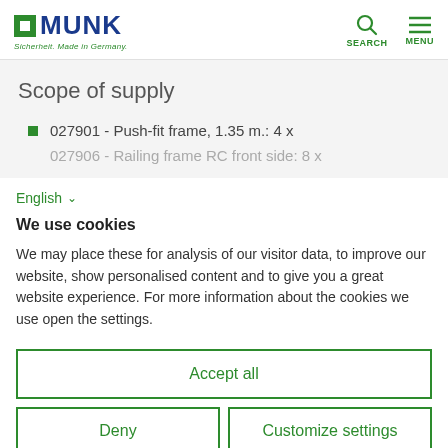MUNK - Sicherheit. Made in Germany. [Search] [Menu]
Scope of supply
027901 - Push-fit frame, 1.35 m.: 4 x
027906 - Railing frame RC front side: 8 x
English
We use cookies
We may place these for analysis of our visitor data, to improve our website, show personalised content and to give you a great website experience. For more information about the cookies we use open the settings.
Accept all
Deny
Customize settings